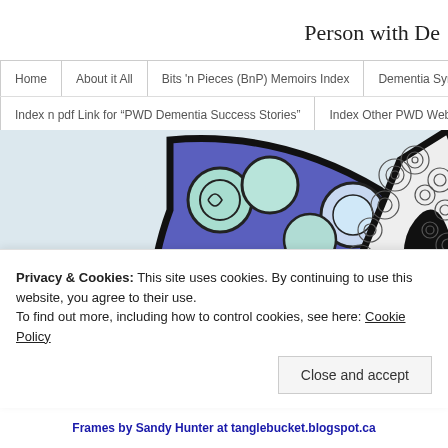Person with De
Home | About it All | Bits 'n Pieces (BnP) Memoirs Index | Dementia Sympto... | Index n pdf Link for “PWD Dementia Success Stories” | Index Other PWD Websites 20...
[Figure (illustration): Decorative artwork: two ornamental letter shapes filled with colorful swirl patterns. Left shape has blue, pink, and teal spiral designs; right shape has black and white intricate spiral/circle patterns. Background is light blue-grey.]
Privacy & Cookies: This site uses cookies. By continuing to use this website, you agree to their use.
To find out more, including how to control cookies, see here: Cookie Policy
Frames by Sandy Hunter at tanglebucket.blogspot.ca